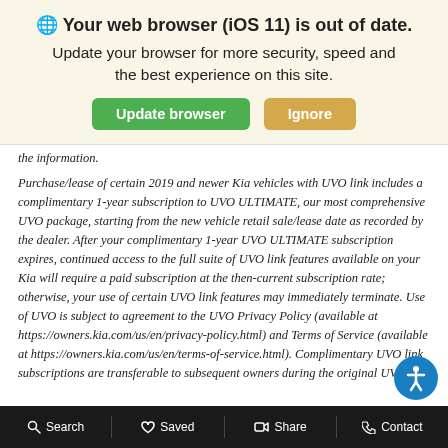🌐 Your web browser (iOS 11) is out of date. Update your browser for more security, speed and the best experience on this site.
the information.
Purchase/lease of certain 2019 and newer Kia vehicles with UVO link includes a complimentary 1-year subscription to UVO ULTIMATE, our most comprehensive UVO package, starting from the new vehicle retail sale/lease date as recorded by the dealer. After your complimentary 1-year UVO ULTIMATE subscription expires, continued access to the full suite of UVO link features available on your Kia will require a paid subscription at the then-current subscription rate; otherwise, your use of certain UVO link features may immediately terminate. Use of UVO is subject to agreement to the UVO Privacy Policy (available at https://owners.kia.com/us/en/privacy-policy.html) and Terms of Service (available at https://owners.kia.com/us/en/terms-of-service.html). Complimentary UVO link subscriptions are transferable to subsequent owners during the original UVO link
Search   Saved   Share   Contact